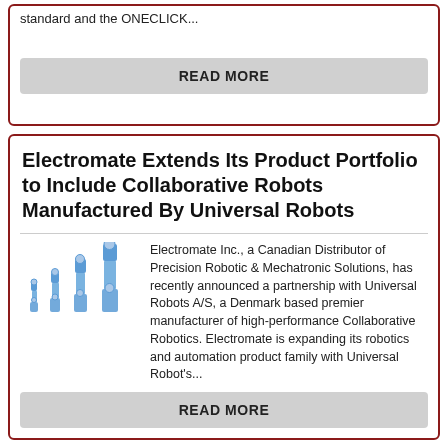standard and the ONECLICK...
READ MORE
Electromate Extends Its Product Portfolio to Include Collaborative Robots Manufactured By Universal Robots
[Figure (illustration): Four robotic arm illustrations of increasing size, shown in profile, styled in blue and grey tones.]
Electromate Inc., a Canadian Distributor of Precision Robotic & Mechatronic Solutions, has recently announced a partnership with Universal Robots A/S, a Denmark based premier manufacturer of high-performance Collaborative Robotics. Electromate is expanding its robotics and automation product family with Universal Robot's...
READ MORE